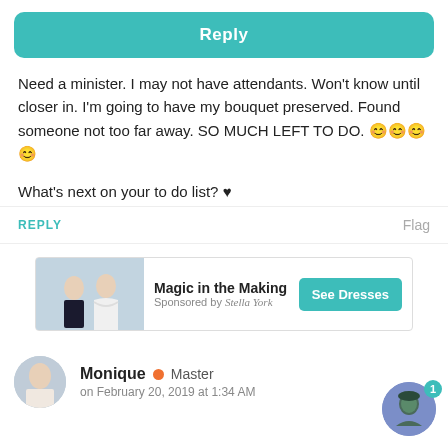[Figure (other): Teal rounded Reply button at the top of the page]
Need a minister. I may not have attendants. Won't know until closer in. I'm going to have my bouquet preserved. Found someone not too far away. SO MUCH LEFT TO DO. 😊😊😊😊
What's next on your to do list? ♥
REPLY
Flag
[Figure (photo): Wedding advertisement banner: couple in wedding attire, Magic in the Making, Sponsored by Stella York, See Dresses button]
Monique • Master
on February 20, 2019 at 1:34 AM